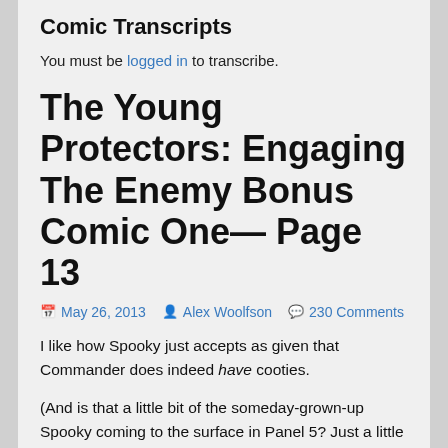Comic Transcripts
You must be logged in to transcribe.
The Young Protectors: Engaging The Enemy Bonus Comic One— Page 13
May 26, 2013   Alex Woolfson   230 Comments
I like how Spooky just accepts as given that Commander does indeed have cooties.
(And is that a little bit of the someday-grown-up Spooky coming to the surface in Panel 5? Just a little bit, maybe, yes…)